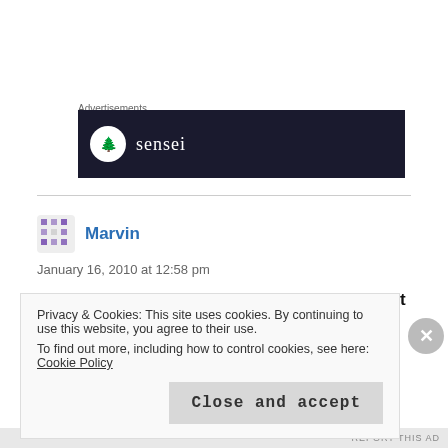Advertisements
[Figure (logo): Dark banner advertisement showing 'sensei' brand with tree logo on dark navy background]
Marvin
January 16, 2010 at 12:58 pm
I'm often amazed at how little warm weather it takes
Privacy & Cookies: This site uses cookies. By continuing to use this website, you agree to their use.
To find out more, including how to control cookies, see here: Cookie Policy
Close and accept